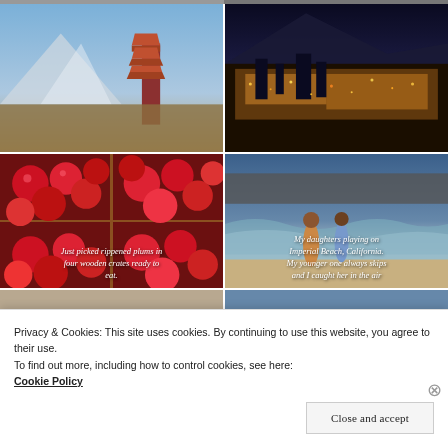[Figure (photo): Partial strip of images at top, cut off]
[Figure (photo): Japanese pagoda with Mount Fuji in background, autumn landscape]
[Figure (photo): City skyline at night with lights, aerial view]
[Figure (photo): Just picked rippened plums in four wooden crates ready to eat.]
[Figure (photo): My daughters playing on Imperial Beach, California. My younger one always skips and I caught her in the air]
[Figure (photo): Partial strip of images at bottom, cut off]
Privacy & Cookies: This site uses cookies. By continuing to use this website, you agree to their use.
To find out more, including how to control cookies, see here: Cookie Policy
Close and accept